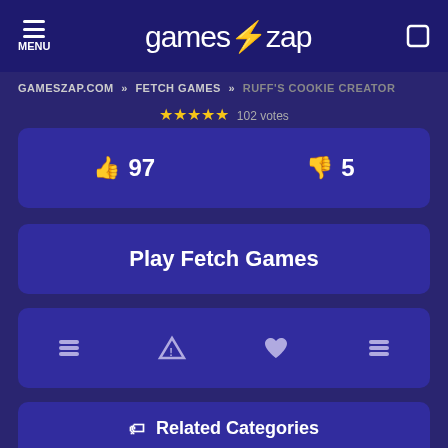MENU | games⚡zap | [search]
GAMESZAP.COM » FETCH GAMES » RUFF'S COOKIE CREATOR
★★★★★ 102 votes
👍 97   👎 5
Play Fetch Games
[prev] [report] [heart/favorite] [next]
🏷 Related Categories
Fetch